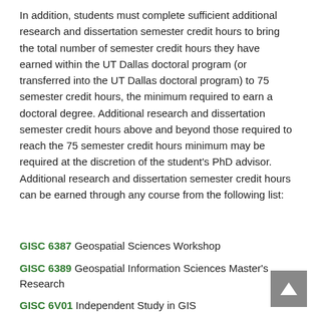In addition, students must complete sufficient additional research and dissertation semester credit hours to bring the total number of semester credit hours they have earned within the UT Dallas doctoral program (or transferred into the UT Dallas doctoral program) to 75 semester credit hours, the minimum required to earn a doctoral degree. Additional research and dissertation semester credit hours above and beyond those required to reach the 75 semester credit hours minimum may be required at the discretion of the student's PhD advisor. Additional research and dissertation semester credit hours can be earned through any course from the following list:
GISC 6387 Geospatial Sciences Workshop
GISC 6389 Geospatial Information Sciences Master's Research
GISC 6V01 Independent Study in GIS